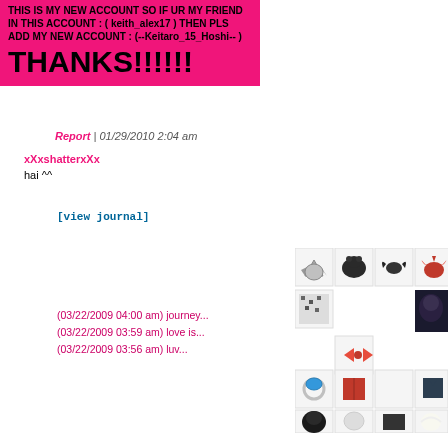THIS IS MY NEW ACCOUNT SO IF UR MY FRIEND IN THIS ACCOUNT : ( keith_alex17 ) THEN PLS ADD MY NEW ACCOUNT : (--Keitaro_15_Hoshi-- )
THANKS!!!!!!
Report | 01/29/2010 2:04 am
xXxshatterxXx
hai ^^
[view journal]
[Figure (illustration): Grid of small pixel-art game items/avatars including armor pieces, creatures, accessories, rings, jackets, hats against white background]
(03/22/2009 04:00 am) journey...
(03/22/2009 03:59 am) love is...
(03/22/2009 03:56 am) luv...